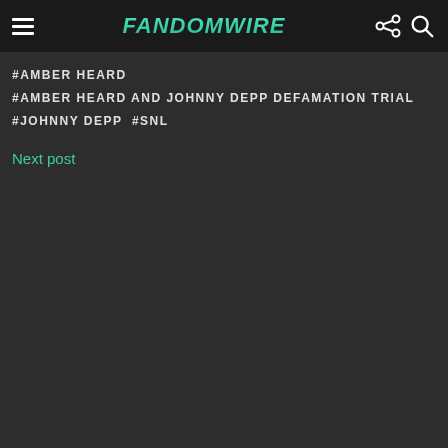FandomWire
#AMBER HEARD
#AMBER HEARD AND JOHNNY DEPP DEFAMATION TRIAL
#JOHNNY DEPP  #SNL
Next post